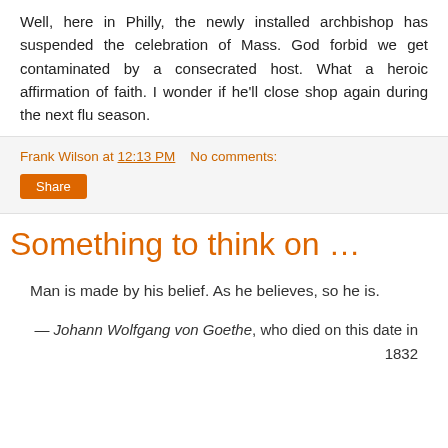Well, here in Philly, the newly installed archbishop has suspended the celebration of Mass. God forbid we get contaminated by a consecrated host. What a heroic affirmation of faith. I wonder if he'll close shop again during the next flu season.
Frank Wilson at 12:13 PM   No comments:
Share
Something to think on …
Man is made by his belief. As he believes, so he is.
— Johann Wolfgang von Goethe, who died on this date in 1832